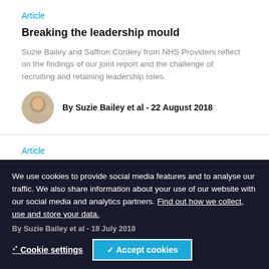Article
Breaking the leadership mould
Suzie Bailey and Saffron Cordery from NHS Providers reflect on the findings of our joint report and the challenge of recruiting and retaining leadership roles.
By Suzie Bailey et al - 22 August 2018
Article
Leadership vacancies in the NHS
We use cookies to provide social media features and to analyse our traffic. We also share information about your use of our website with our social media and analytics partners. Find out how we collect, use and store your data.
By Suzie Bailey et al - 18 July 2018